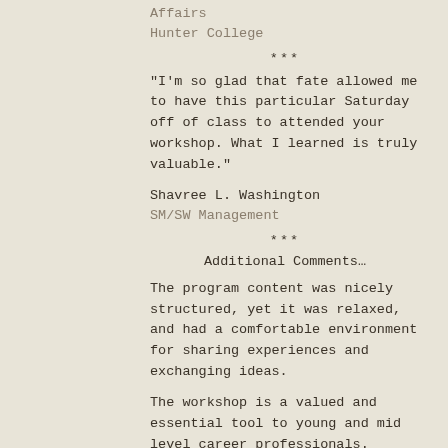Affairs
Hunter College
"I'm so glad that fate allowed me to have this particular Saturday off of class to attended your workshop. What I learned is truly valuable."
Shavree L. Washington
SM/SW Management
Additional Comments…
The program content was nicely structured, yet it was relaxed, and had a comfortable environment for sharing experiences and exchanging ideas.
The workshop is a valued and essential tool to young and mid level career professionals.
I like that we talked about etiquette in various settings and not just a formal